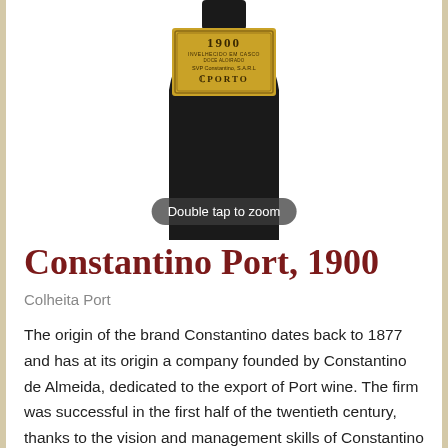[Figure (photo): A dark bottle of Constantino Port 1900 wine with a gold label reading '1900, INVELHECIDO EM CASCO, DOCE ALOIRADO, SVP Constantino, S.A.R.L., PORTO']
Double tap to zoom
Constantino Port, 1900
Colheita Port
The origin of the brand Constantino dates back to 1877 and has at its origin a company founded by Constantino de Almeida, dedicated to the export of Port wine. The firm was successful in the first half of the twentieth century, thanks to the vision and management skills of Constantino de Almeida and his successors. The brand is currently recognised for the quality of its famous Brandy, widely expanded in Portugal and beyond. The purity and